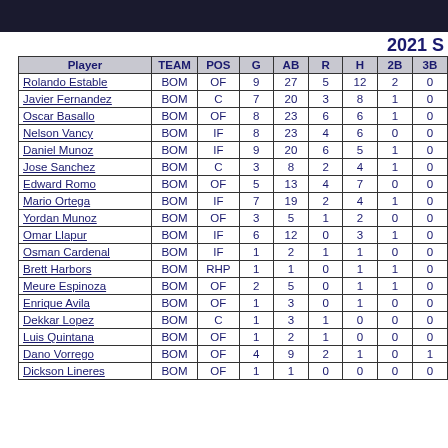2021 S
| Player | TEAM | POS | G | AB | R | H | 2B | 3B |
| --- | --- | --- | --- | --- | --- | --- | --- | --- |
| Rolando Estable | BOM | OF | 9 | 27 | 5 | 12 | 2 | 0 |
| Javier Fernandez | BOM | C | 7 | 20 | 3 | 8 | 1 | 0 |
| Oscar Basallo | BOM | OF | 8 | 23 | 6 | 6 | 1 | 0 |
| Nelson Vancy | BOM | IF | 8 | 23 | 4 | 6 | 0 | 0 |
| Daniel Munoz | BOM | IF | 9 | 20 | 6 | 5 | 1 | 0 |
| Jose Sanchez | BOM | C | 3 | 8 | 2 | 4 | 1 | 0 |
| Edward Romo | BOM | OF | 5 | 13 | 4 | 7 | 0 | 0 |
| Mario Ortega | BOM | IF | 7 | 19 | 2 | 4 | 1 | 0 |
| Yordan Munoz | BOM | OF | 3 | 5 | 1 | 2 | 0 | 0 |
| Omar Llapur | BOM | IF | 6 | 12 | 0 | 3 | 1 | 0 |
| Osman Cardenal | BOM | IF | 1 | 2 | 1 | 1 | 0 | 0 |
| Brett Harbors | BOM | RHP | 1 | 1 | 0 | 1 | 1 | 0 |
| Meure Espinoza | BOM | OF | 2 | 5 | 0 | 1 | 1 | 0 |
| Enrique Avila | BOM | OF | 1 | 3 | 0 | 1 | 0 | 0 |
| Dekkar Lopez | BOM | C | 1 | 3 | 1 | 0 | 0 | 0 |
| Luis Quintana | BOM | OF | 1 | 2 | 1 | 0 | 0 | 0 |
| Dano Vorrego | BOM | OF | 4 | 9 | 2 | 1 | 0 | 1 |
| Dickson Lineres | BOM | OF | 1 | 1 | 0 | 0 | 0 | 0 |